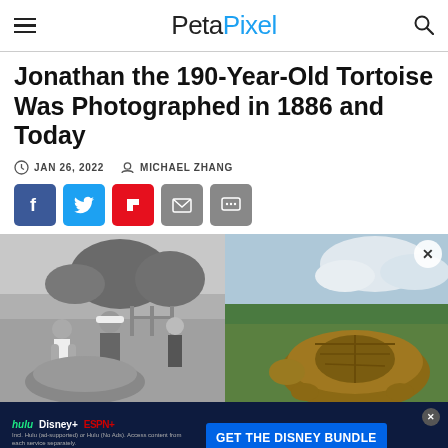PetaPixel
Jonathan the 190-Year-Old Tortoise Was Photographed in 1886 and Today
JAN 26, 2022   MICHAEL ZHANG
[Figure (screenshot): Social share buttons: Facebook (blue), Twitter (light blue), Flipboard (red), Email (gray), Comments (gray)]
[Figure (photo): Left: black and white historical photo of people standing near a tortoise in a field. Right: color photo of a large tortoise outdoors with cloudy sky background. A close/X button appears on the right photo.]
GET THE DISNEY BUNDLE — hulu, Disney+, ESPN+ — Incl. Hulu (ad-supported) or Hulu (No Ads). Access content from each service separately. ©2021 Disney and its related entities